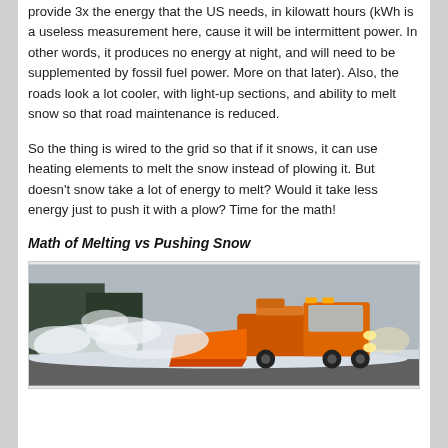provide 3x the energy that the US needs, in kilowatt hours (kWh is a useless measurement here, cause it will be intermittent power. In other words, it produces no energy at night, and will need to be supplemented by fossil fuel power. More on that later). Also, the roads look a lot cooler, with light-up sections, and ability to melt snow so that road maintenance is reduced.
So the thing is wired to the grid so that if it snows, it can use heating elements to melt the snow instead of plowing it. But doesn't snow take a lot of energy to melt? Would it take less energy just to push it with a plow? Time for the math!
Math of Melting vs Pushing Snow
[Figure (photo): A snow plow truck with orange plow blade clearing snow on a road in winter conditions, with lights on and snow flying.]